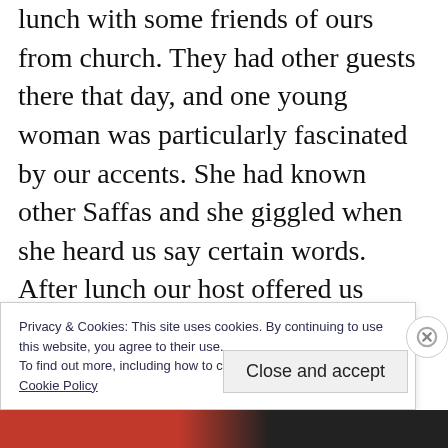lunch with some friends of ours from church. They had other guests there that day, and one young woman was particularly fascinated by our accents. She had known other Saffas and she giggled when she heard us say certain words. After lunch our host offered us coffee and asked if we had our coffee black or white. We both responded, “White,” which to other ears probably sounds like whart. Our new young friend couldn’t contain herself, and
Privacy & Cookies: This site uses cookies. By continuing to use this website, you agree to their use.
To find out more, including how to control cookies, see here:
Cookie Policy
Close and accept